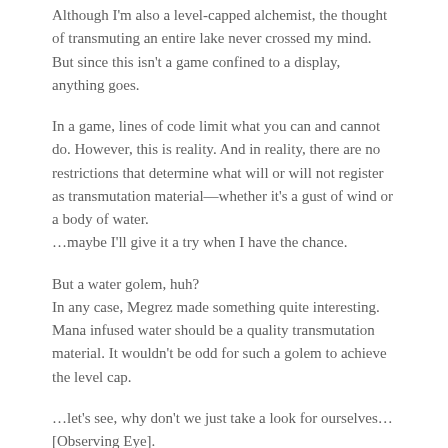Although I'm also a level-capped alchemist, the thought of transmuting an entire lake never crossed my mind. But since this isn't a game confined to a display, anything goes.
In a game, lines of code limit what you can and cannot do. However, this is reality. And in reality, there are no restrictions that determine what will or will not register as transmutation material—whether it's a gust of wind or a body of water.
…maybe I'll give it a try when I have the chance.
But a water golem, huh?
In any case, Megrez made something quite interesting. Mana infused water should be a quality transmutation material. It wouldn't be odd for such a golem to achieve the level cap.
…let's see, why don't we just take a look for ourselves…
[Observing Eye].